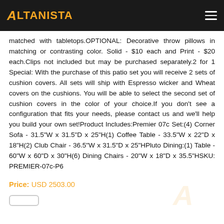ALTANISTA
matched with tabletops.OPTIONAL: Decorative throw pillows in matching or contrasting color. Solid - $10 each and Print - $20 each.Clips not included but may be purchased separately.2 for 1 Special: With the purchase of this patio set you will receive 2 sets of cushion covers. All sets will ship with Espresso wicker and Wheat covers on the cushions. You will be able to select the second set of cushion covers in the color of your choice.If you don't see a configuration that fits your needs, please contact us and we'll help you build your own set!Product Includes:Premier 07c Set:(4) Corner Sofa - 31.5"W x 31.5"D x 25"H(1) Coffee Table - 33.5"W x 22"D x 18"H(2) Club Chair - 36.5"W x 31.5"D x 25"HPluto Dining:(1) Table - 60"W x 60"D x 30"H(6) Dining Chairs - 20"W x 18"D x 35.5"HSKU: PREMIER-07c-P6
Price: USD 2503.00